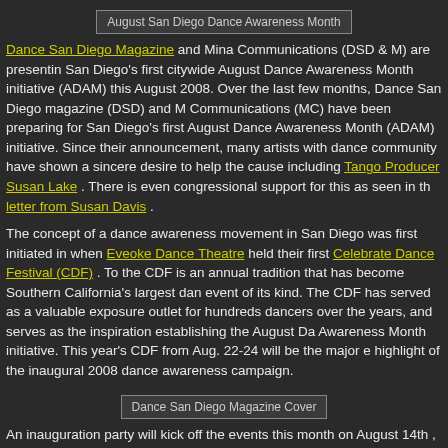[Figure (other): August San Diego Dance Awareness Month banner/image placeholder]
Dance San Diego Magazine and Mina Communications (DSD & M) are presenting San Diego's first citywide August Dance Awareness Month initiative (ADAM) this August 2008. Over the last few months, Dance San Diego magazine (DSD) and Mina Communications (MC) have been preparing for San Diego's first August Dance Awareness Month (ADAM) initiative. Since their announcement, many artists with the dance community have shown a sincere desire to help the cause including Tango Producer Susan Lake . There is even congressional support for this as seen in the letter from Susan Davis .
The concept of a dance awareness movement in San Diego was first initiated in 2 when Eveoke Dance Theatre held their first Celebrate Dance Festival (CDF) . Today the CDF is an annual tradition that has become Southern California's largest dance event of its kind. The CDF has served as a valuable exposure outlet for hundreds of dancers over the years, and serves as the inspiration establishing the August Dance Awareness Month initiative. This year's CDF from Aug. 22-24 will be the major event highlight of the inaugural 2008 dance awareness campaign.
[Figure (other): Dance San Diego Magazine Cover image placeholder]
An inauguration party will kick off the events this month on August 14th , 2008. All invited. Apart from this party, there are dance film presentations, in-studio performances from various dance companies, free dance classes at various dance schools, and much more.
Ritmo Bello and The San Diego Salsa and Latin Dancing Meetup group are supporting the event and there is an event on our calendar for you to access all the information.
Celebrate Dance Awareness month here in San Diego!